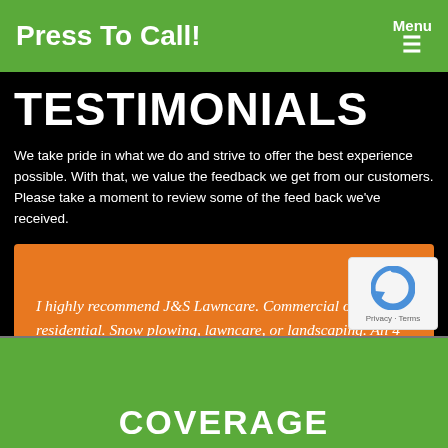Press To Call!
TESTIMONIALS
We take pride in what we do and strive to offer the best experience possible. With that, we value the feedback we get from our customers. Please take a moment to review some of the feed back we've received.
I highly recommend J&S Lawncare. Commercial or residential. Snow plowing, lawncare, or landscaping. All 4 seasons are covered, and covered with perfection!!!!!

Joel Bystrom
[Figure (logo): reCAPTCHA logo with Privacy and Terms links]
COVERAGE